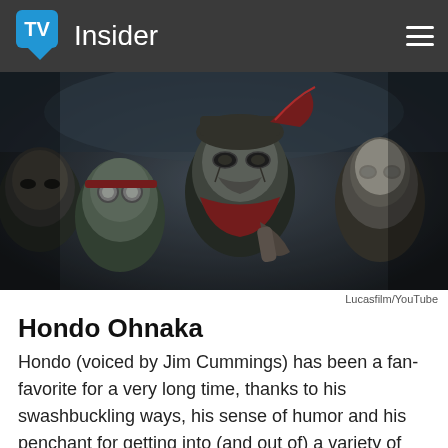TV Insider
[Figure (photo): Animated alien characters from a Star Wars animated series, multiple characters in a dark cinematic scene. Source: Lucasfilm/YouTube]
Lucasfilm/YouTube
Hondo Ohnaka
Hondo (voiced by Jim Cummings) has been a fan-favorite for a very long time, thanks to his swashbuckling ways, his sense of humor and his penchant for getting into (and out of) a variety of